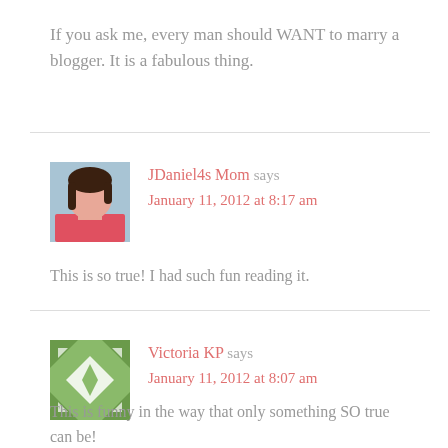If you ask me, every man should WANT to marry a blogger. It is a fabulous thing.
JDaniel4s Mom says
January 11, 2012 at 8:17 am
[Figure (photo): Avatar photo of JDaniel4s Mom, a woman with dark hair wearing a pink shirt, against a blue-grey background]
This is so true! I had such fun reading it.
Victoria KP says
January 11, 2012 at 8:07 am
[Figure (illustration): Green quilt-pattern style avatar icon with white geometric design]
This is funny in the way that only something SO true can be!